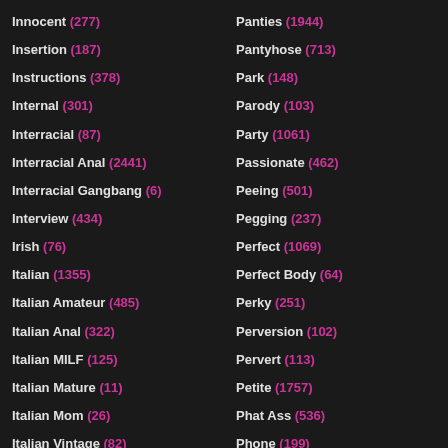Innocent (277)
Insertion (187)
Instructions (378)
Internal (301)
Interracial (87)
Interracial Anal (2441)
Interracial Gangbang (6)
Interview (434)
Irish (76)
Italian (1355)
Italian Amateur (485)
Italian Anal (322)
Italian MILF (125)
Italian Mature (11)
Italian Mom (26)
Italian Vintage (82)
Panties (1944)
Pantyhose (713)
Park (148)
Parody (103)
Party (1061)
Passionate (462)
Peeing (501)
Pegging (237)
Perfect (1069)
Perfect Body (64)
Perky (251)
Perversion (102)
Pervert (113)
Petite (1757)
Phat Ass (536)
Phone (199)